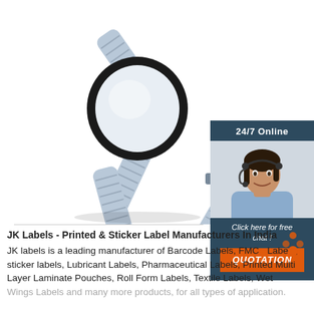[Figure (photo): Product photo of an RFID wristband with a black circular dial and grey/white ridged strap, shown at an angle on a white background]
[Figure (infographic): Sidebar panel with dark blue background showing '24/7 Online' text, a woman with headset (customer support photo), italic text 'Click here for free chat!' and an orange 'QUOTATION' button]
JK Labels - Printed & Sticker Label Manufacturers In India
JK labels is a leading manufacturer of Barcode Labels, FMCG Labels, sticker labels, Lubricant Labels, Pharmaceutical Labels, Printed Multi Layer Laminate Pouches, Roll Form Labels, Textile Labels, Wet Wings Labels and many more products, for all types of application.